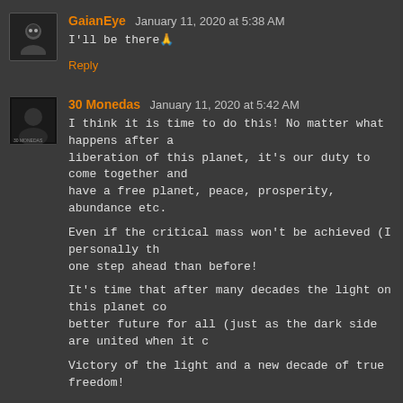GaianEye  January 11, 2020 at 5:38 AM
I'll be there🙏
Reply
30 Monedas  January 11, 2020 at 5:42 AM
I think it is time to do this! No matter what happens after an liberation of this planet, it's our duty to come together and have a free planet, peace, prosperity, abundance etc.

Even if the critical mass won't be achieved (I personally th one step ahead than before!

It's time that after many decades the light on this planet co better future for all (just as the dark side are united when it c

Victory of the light and a new decade of true freedom!
Reply
Replies
Unknown  January 11, 2020 at 10:34 PM
So be it= Love to All